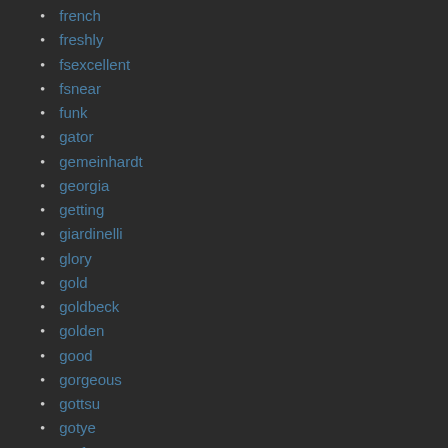french
freshly
fsexcellent
fsnear
funk
gator
gemeinhardt
georgia
getting
giardinelli
glory
gold
goldbeck
golden
good
gorgeous
gottsu
gotye
grafton
grassi
great
greatest
green